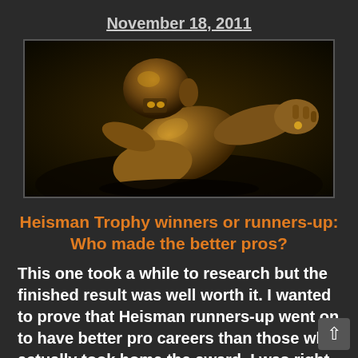November 18, 2011
[Figure (photo): Close-up photo of the Heisman Trophy bronze statue, showing the running back figure in a low angle dark background shot]
Heisman Trophy winners or runners-up: Who made the better pros?
This one took a while to research but the finished result was well worth it.  I wanted to prove that Heisman runners-up went on to have better pro careers than those who actually took home the award.  I was right.